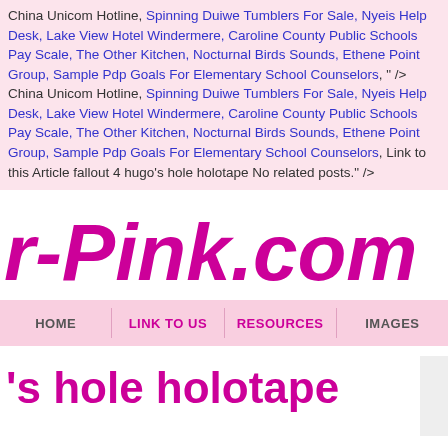China Unicom Hotline, Spinning Duiwe Tumblers For Sale, Nyeis Help Desk, Lake View Hotel Windermere, Caroline County Public Schools Pay Scale, The Other Kitchen, Nocturnal Birds Sounds, Ethene Point Group, Sample Pdp Goals For Elementary School Counselors,  " /> China Unicom Hotline, Spinning Duiwe Tumblers For Sale, Nyeis Help Desk, Lake View Hotel Windermere, Caroline County Public Schools Pay Scale, The Other Kitchen, Nocturnal Birds Sounds, Ethene Point Group, Sample Pdp Goals For Elementary School Counselors, Link to this Article fallout 4 hugo's hole holotape No related posts." />
[Figure (logo): r-Pink.com logo in magenta/pink italic bold font]
HOME   LINK TO US   RESOURCES   IMAGES
's hole holotape